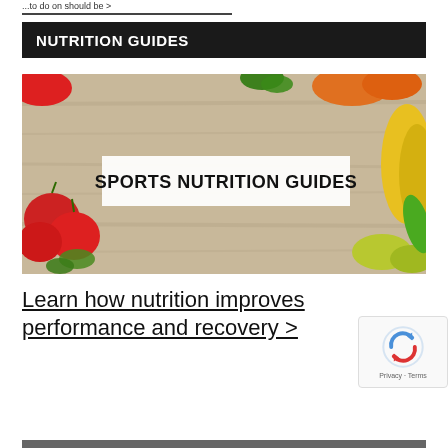...to do on should be >
NUTRITION GUIDES
[Figure (photo): Sports Nutrition Guides banner image: vegetables and peppers on a wooden surface with a white banner overlay reading 'SPORTS NUTRITION GUIDES' in bold black text]
Learn how nutrition improves performance and recovery >